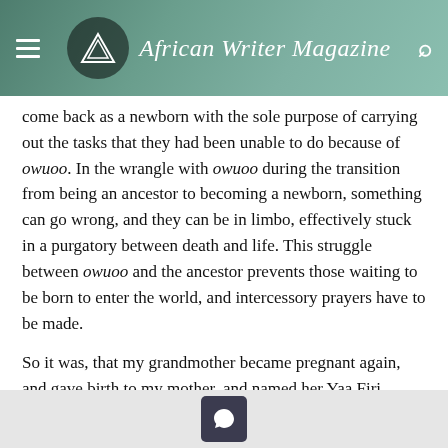African Writer Magazine — Since 2014
come back as a newborn with the sole purpose of carrying out the tasks that they had been unable to do because of owuoo. In the wrangle with owuoo during the transition from being an ancestor to becoming a newborn, something can go wrong, and they can be in limbo, effectively stuck in a purgatory between death and life. This struggle between owuoo and the ancestor prevents those waiting to be born to enter the world, and intercessory prayers have to be made.
So it was, that my grandmother became pregnant again, and gave birth to my mother, and named her Yaa Firi Ampofowaa. A few months went by, and although taken ill, sometimes for long periods,